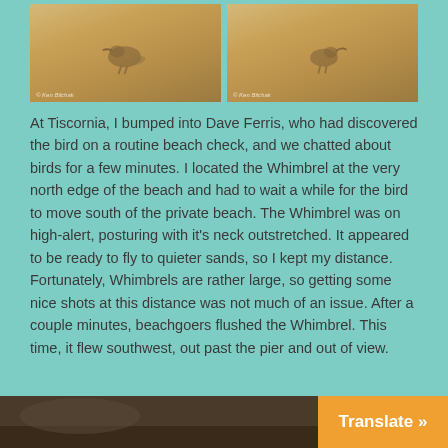[Figure (photo): Two side-by-side photos of a Whimbrel shorebird on sandy beach. Left photo shows bird facing left, right photo shows bird with distinctive curved bill facing right.]
At Tiscornia, I bumped into Dave Ferris, who had discovered the bird on a routine beach check, and we chatted about birds for a few minutes. I located the Whimbrel at the very north edge of the beach and had to wait a while for the bird to move south of the private beach. The Whimbrel was on high-alert, posturing with it's neck outstretched. It appeared to be ready to fly to quieter sands, so I kept my distance. Fortunately, Whimbrels are rather large, so getting some nice shots at this distance was not much of an issue. After a couple minutes, beachgoers flushed the Whimbrel. This time, it flew southwest, out past the pier and out of view.
[Figure (photo): Partial photo of bird or beach scene at bottom left, cropped at page edge.]
Translate »